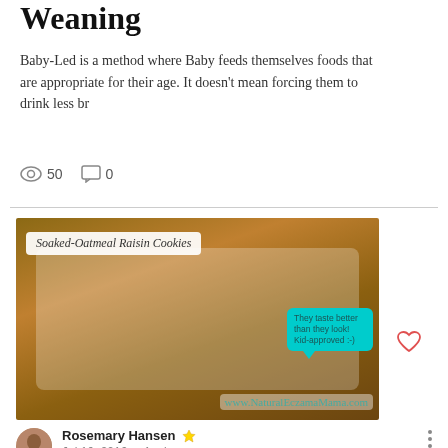Weaning
Baby-Led is a method where Baby feeds themselves foods that are appropriate for their age. It doesn't mean forcing them to drink less br
50  0
[Figure (photo): Photo of soaked oatmeal raisin cookies on a white plate, with a speech bubble saying 'They taste better than they look! Kid-approved :-)', label reading 'Soaked-Oatmeal Raisin Cookies', and watermark www.NaturalEczamaMama.com]
Rosemary Hansen
Jul 16, 2016 · 1 min